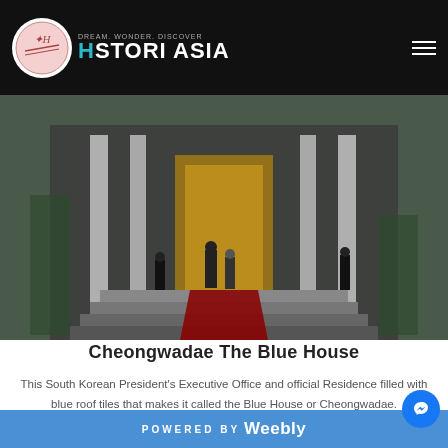STORI ASIA — DREAM. WONDER. DISCOVER.
[Figure (photo): Exterior entrance of Cheongwadae (Blue House) with red carpet stairs, white columns, and staff in formal attire.]
Cheongwadae The Blue House
This South Korean President's Executive Office and official Residence filled with blue roof tiles that makes it called the Blue House or Cheongwadae.
Estimates of 150,000 tiles that formed the roofs of this Blue House. This area divided into some sections, such as Main
POWERED BY Weebly